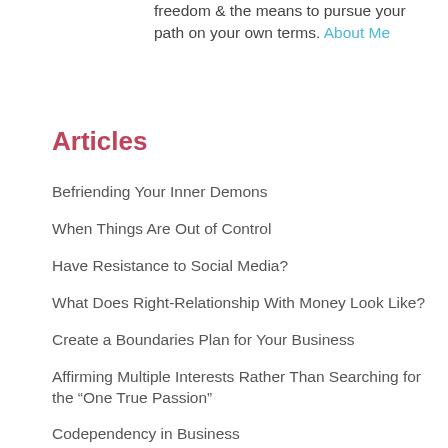freedom & the means to pursue your path on your own terms. About Me
Articles
Befriending Your Inner Demons
When Things Are Out of Control
Have Resistance to Social Media?
What Does Right-Relationship With Money Look Like?
Create a Boundaries Plan for Your Business
Affirming Multiple Interests Rather Than Searching for the “One True Passion”
Codependency in Business
Developing A Repeatable Marketing System